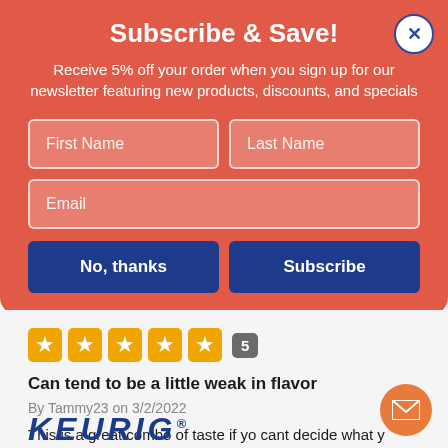Subscribe & Save!
Receive 5% off your order when you sign up for our newsletter featuring new products, discounts, and specials
[Figure (screenshot): Modal form with First Name, Last Name, Email fields and two buttons: No, thanks and Subscribe]
[Figure (other): Five orange star rating badges with count badge showing 5]
Can tend to be a little weak in flavor
By Tammy23 on 3/2/2022
This is a great combo of taste if yo cant decide what you want
[Figure (logo): Keurig logo partially visible at bottom]